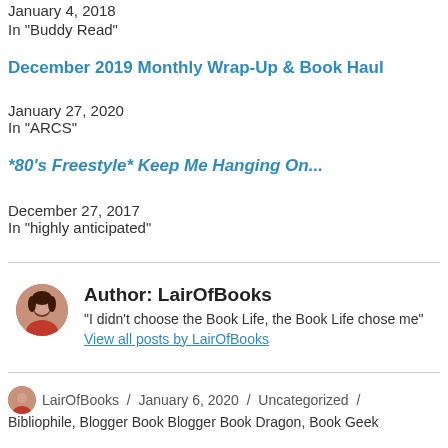January 4, 2018
In "Buddy Read"
December 2019 Monthly Wrap-Up & Book Haul
January 27, 2020
In "ARCS"
*80's Freestyle* Keep Me Hanging On...
December 27, 2017
In "highly anticipated"
Author: LairOfBooks
"I didn't choose the Book Life, the Book Life chose me" View all posts by LairOfBooks
LairOfBooks / January 6, 2020 / Uncategorized / Bibliophile, Blogger Book Blogger Book Dragon, Book Geek